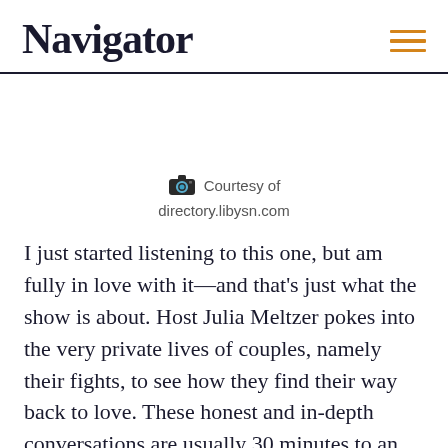Navigator
Courtesy of
directory.libysn.com
I just started listening to this one, but am fully in love with it—and that's just what the show is about. Host Julia Meltzer pokes into the very private lives of couples, namely their fights, to see how they find their way back to love. These honest and in-depth conversations are usually 30 minutes to an hour long, and feature couples at various stages of relationships